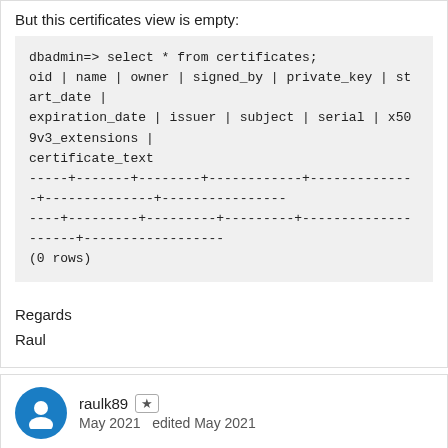But this certificates view is empty:
dbadmin=> select * from certificates;
oid | name | owner | signed_by | private_key | start_date | expiration_date | issuer | subject | serial | x509v3_extensions | certificate_text
-----+-------+--------+------------+--------------+--------------+----------------
----+---------+---------+---------+--------------------+------------------
(0 rows)
Regards
Raul
raulk89   May 2021   edited May 2021
Oh, ok, I need to CREATE these certs to vertica before.
In production I understood, it is preferred that I use our corporate CA in contrast to generating self signed CA, as it is stated here: